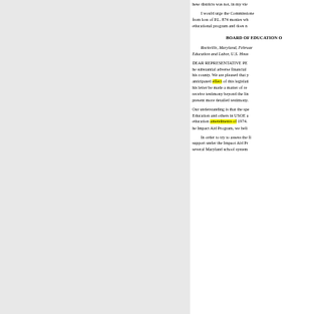these districts was not, in my vie
I would urge the Commission from loss of P.L. 874 monies wh educational program and does n
BOARD OF EDUCATION O
Rockville, Maryland, Februar Education and Labor, U.S. Hous
DEAR REPRESENTATIVE PE he substantial adverse financial this county. We are pleased that y anticipated effect of this legislati this letter be made a matter of re receive testimony beyond the lin present more detailed testimony.
Our understanding is that the spe Education and others in USOE a education amendments of 1974. he Impact Aid Program, we beli
In order to try to assess the fi support under the Impaot Aid Pr several Maryland school system